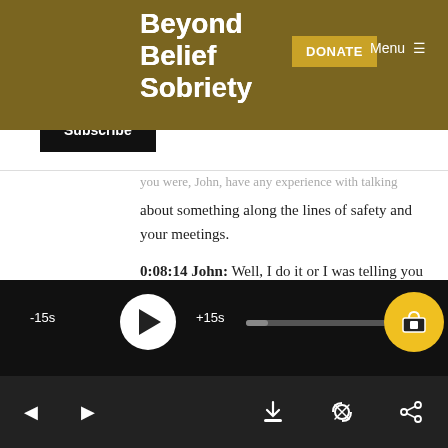Beyond Belief Sobriety
DONATE
Menu
Subscribe
you were, John, have any experience with talking about something along the lines of safety and your meetings.
0:08:14 John: Well, I do it or I was telling you about our area assembly where we had something come up that was really more race-related than anything else, but I just thought of something kinda ironic. You actually had a seminar or
[Figure (screenshot): Audio player bar with -15s skip back, play button, +15s skip forward, progress bar, speed button, and tip/donate button]
[Figure (screenshot): Bottom navigation bar with back arrow, forward arrow, download, cast, and share icons]